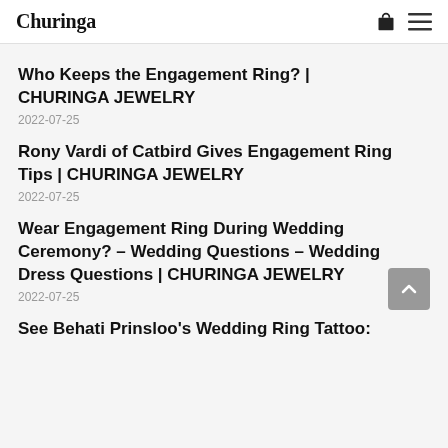Churinga
Who Keeps the Engagement Ring? | CHURINGA JEWELRY
2022-07-25
Rony Vardi of Catbird Gives Engagement Ring Tips | CHURINGA JEWELRY
2022-07-25
Wear Engagement Ring During Wedding Ceremony? – Wedding Questions – Wedding Dress Questions | CHURINGA JEWELRY
2022-07-25
See Behati Prinsloo's Wedding Ring Tattoo: